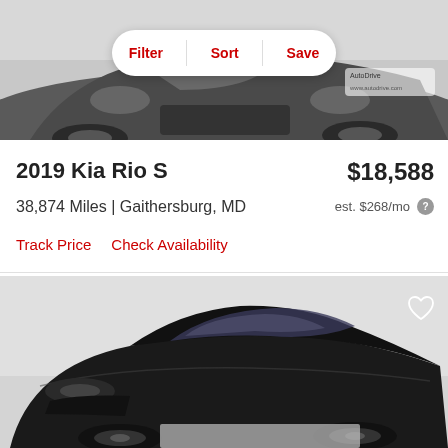[Figure (photo): Front view of a gray 2019 Kia Rio S with Filter/Sort/Save overlay bar]
Filter  Sort  Save
2019 Kia Rio S
$18,588
38,874 Miles | Gaithersburg, MD
est. $268/mo
Track Price   Check Availability
[Figure (photo): Three-quarter front view of a dark/black Kia sedan on a light gray background, with a heart/favorite icon in the top right corner]